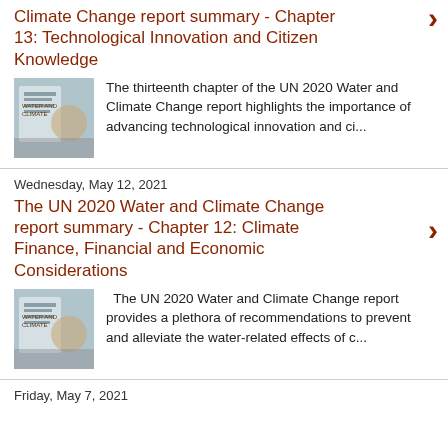Climate Change report summary - Chapter 13: Technological Innovation and Citizen Knowledge
The thirteenth chapter of the UN 2020 Water and Climate Change report highlights the importance of advancing technological innovation and ci...
Wednesday, May 12, 2021
The UN 2020 Water and Climate Change report summary - Chapter 12: Climate Finance, Financial and Economic Considerations
The UN 2020 Water and Climate Change report provides a plethora of recommendations to prevent and alleviate the water-related effects of c...
Friday, May 7, 2021